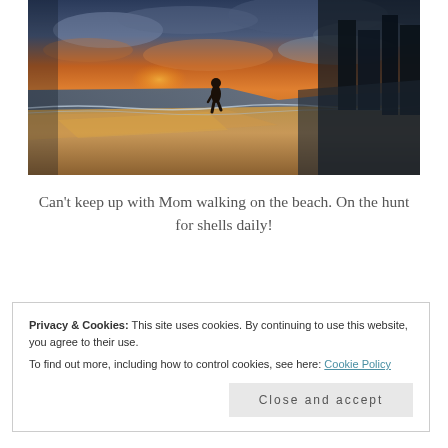[Figure (photo): A person silhouetted walking along a beach at sunset, with ocean waves on the left, wet sand reflecting orange and golden light, and dark buildings/structures visible on the right horizon. Dramatic orange and blue-grey clouds fill the sky.]
Can't keep up with Mom walking on the beach. On the hunt for shells daily!
Privacy & Cookies: This site uses cookies. By continuing to use this website, you agree to their use.
To find out more, including how to control cookies, see here: Cookie Policy
Close and accept